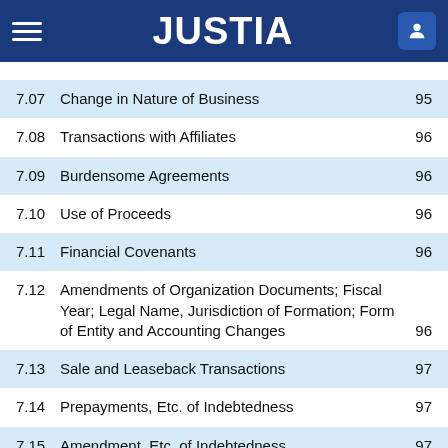JUSTIA
7.07  Change in Nature of Business  95
7.08  Transactions with Affiliates  96
7.09  Burdensome Agreements  96
7.10  Use of Proceeds  96
7.11  Financial Covenants  96
7.12  Amendments of Organization Documents; Fiscal Year; Legal Name, Jurisdiction of Formation; Form of Entity and Accounting Changes  96
7.13  Sale and Leaseback Transactions  97
7.14  Prepayments, Etc. of Indebtedness  97
7.15  Amendment, Etc. of Indebtedness  97
7.16  Sanctions  97